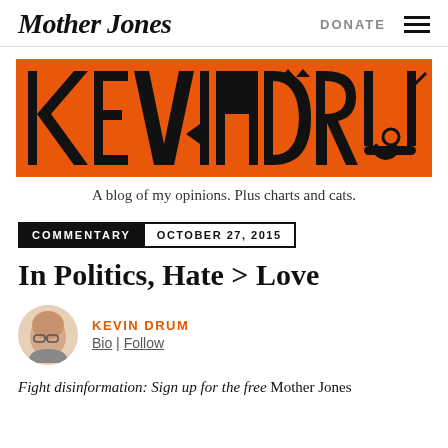Mother Jones | DONATE
[Figure (logo): Kevin Drum blog banner — large stylized black text 'KEVINDRUM' on orange background]
A blog of my opinions. Plus charts and cats.
COMMENTARY  OCTOBER 27, 2015
In Politics, Hate > Love
[Figure (photo): Circular author headshot of Kevin Drum, a bald man with glasses]
KEVIN DRUM
Bio | Follow
Fight disinformation: Sign up for the free Mother Jones